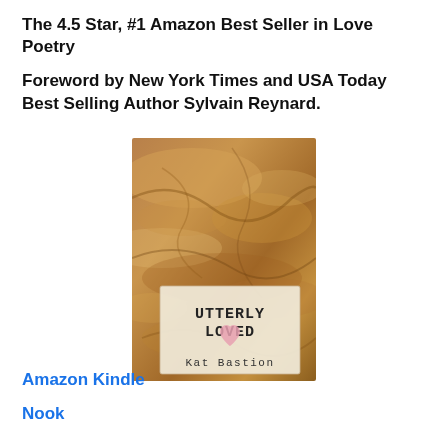The 4.5 Star, #1 Amazon Best Seller in Love Poetry
Foreword by New York Times and USA Today Best Selling Author Sylvain Reynard.
[Figure (illustration): Book cover of 'Utterly Loved' by Kat Bastion. The cover has a brown marbled paper texture background. In the lower portion, a white/cream label-style area contains the title 'UTTERLY LOVED' in typewriter font, a small pink heart illustration below the title, and the author name 'Kat Bastion' in typewriter font below the heart.]
Amazon Kindle
Nook